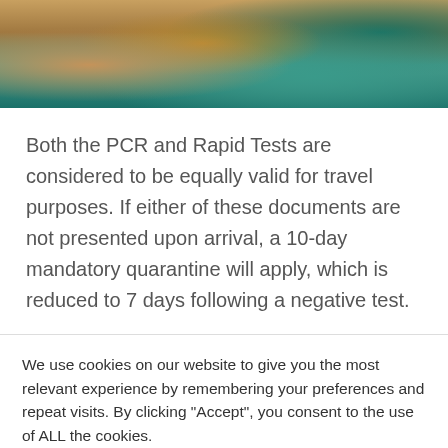[Figure (photo): Aerial photo of rocky coastline with turquoise/teal water and golden rocky terrain]
Both the PCR and Rapid Tests are considered to be equally valid for travel purposes. If either of these documents are not presented upon arrival, a 10-day mandatory quarantine will apply, which is reduced to 7 days following a negative test.
We use cookies on our website to give you the most relevant experience by remembering your preferences and repeat visits. By clicking “Accept”, you consent to the use of ALL the cookies.
Do not sell my personal information.